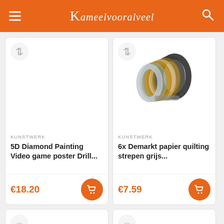Kameelvooralveel
[Figure (screenshot): Product card: 5D Diamond Painting Video game poster Drill... priced at €18.20 with add to cart button]
[Figure (screenshot): Product card: 6x Demarkt papier quilting strepen grijs... priced at €7.59 with add to cart button, shows image of colorful belt/strap handles]
[Figure (screenshot): Bottom partial product card left, empty image area with wishlist and compare buttons]
[Figure (screenshot): Bottom partial product card right, empty image area with wishlist and compare buttons]